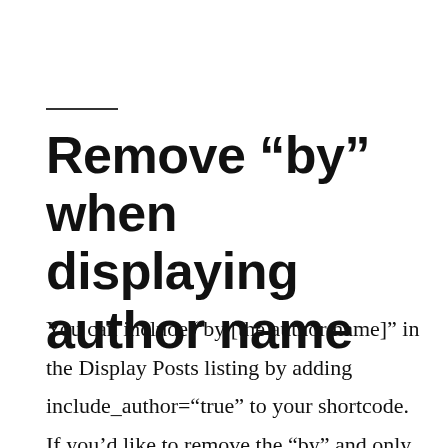Remove “by” when displaying author name
You can include “by [the author name]” in the Display Posts listing by adding include_author=“true” to your shortcode. If you’d like to remove the “by” and only display the author name, add the code below